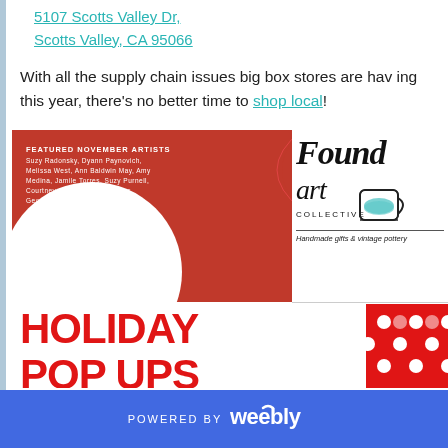5107 Scotts Valley Dr, Scotts Valley, CA 95066
With all the supply chain issues big box stores are having this year, there's no better time to shop local!
[Figure (illustration): Found Art Collective promotional card showing featured November artists on a red background with white circle accent, and the Found Art Collective logo with a painted cup illustration and tagline 'Handmade gifts & vintage pottery'. Below is a Holiday Pop Ups banner in large red bold text with a red polka-dot gift graphic.]
POWERED BY weebly